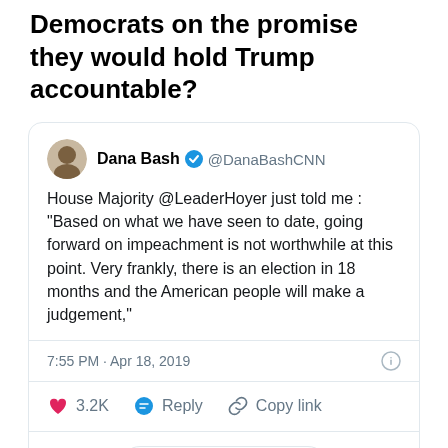Democrats on the promise they would hold Trump accountable?
[Figure (screenshot): Embedded tweet from @DanaBashCNN: 'House Majority @LeaderHoyer just told me : "Based on what we have seen to date, going forward on impeachment is not worthwhile at this point. Very frankly, there is an election in 18 months and the American people will make a judgement,"' — 7:55 PM · Apr 18, 2019. 3.2K likes, Reply, Copy link, Read 104 replies.]